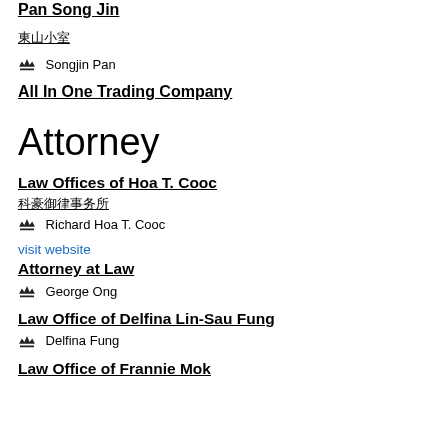Pan Song Jin
潘崇進 (Chinese characters)
Songjin Pan
All In One Trading Company
Attorney
Law Offices of Hoa T. Cooc
科豪律師事務所 (Chinese characters)
Richard Hoa T. Cooc
visit website
Attorney at Law
George Ong
Law Office of Delfina Lin-Sau Fung
Delfina Fung
Law Office of Frannie Mok